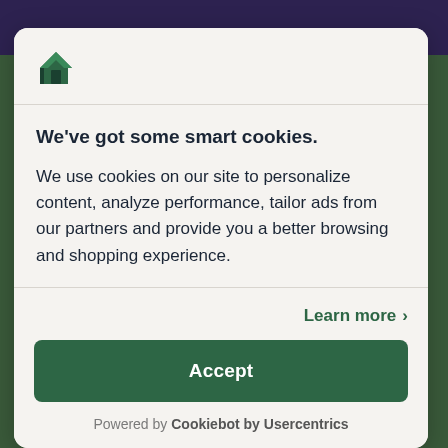[Figure (logo): Green house icon logo]
We've got some smart cookies.
We use cookies on our site to personalize content, analyze performance, tailor ads from our partners and provide you a better browsing and shopping experience.
Learn more >
Accept
Powered by Cookiebot by Usercentrics